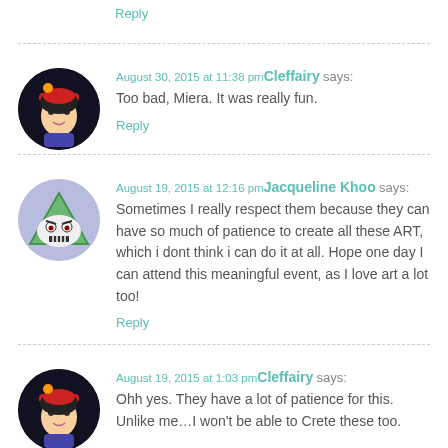Reply
August 30, 2015 at 11:38 pm — Cleffairy says:
Too bad, Miera. It was really fun.
Reply
August 19, 2015 at 12:16 pm — Jacqueline Khoo says:
Sometimes I really respect them because they can have so much of patience to create all these ART, which i dont think i can do it at all. Hope one day I can attend this meaningful event, as I love art a lot too!
Reply
August 19, 2015 at 1:03 pm — Cleffairy says:
Ohh yes. They have a lot of patience for this. Unlike me…I won't be able to Crete these too.